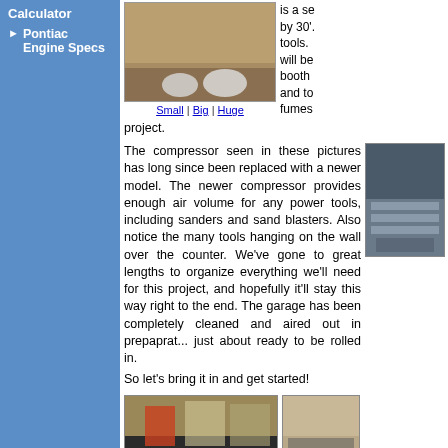Calculator
Pontiac Engine Specs
[Figure (photo): Photo of a garage floor with tools/equipment on it]
Small | Big | Huge
is a se... by 30'. tools. will be booth and to fumes project.
The compressor seen in these pictures has long since been replaced with a newer model. The newer compressor provides enough air volume for any power tools, including sanders and sand blasters. Also notice the many tools hanging on the wall over the counter. We've gone to great lengths to organize everything we'll need for this project, and hopefully it'll stay this way right to the end. The garage has been completely cleaned and aired out in prepaprat... just about ready to be rolled in.
[Figure (photo): Photo of tools hanging on a wall in a garage]
So let's bring it in and get started!
[Figure (photo): Photo of a garage interior with a car]
[Figure (photo): Photo of garage wall/shelving area]